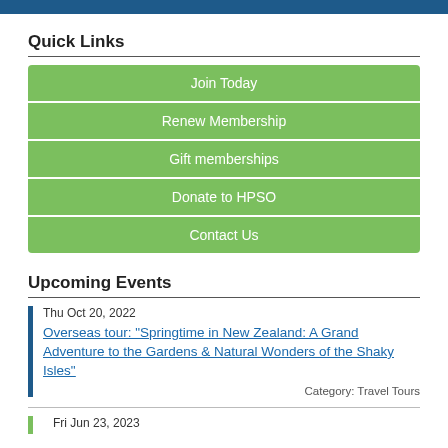Quick Links
Join Today
Renew Membership
Gift memberships
Donate to HPSO
Contact Us
Upcoming Events
Thu Oct 20, 2022
Overseas tour: "Springtime in New Zealand: A Grand Adventure to the Gardens & Natural Wonders of the Shaky Isles"
Category: Travel Tours
Fri Jun 23, 2023